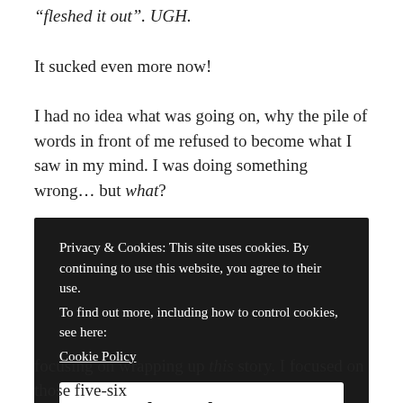“fleshed it out”. UGH.
It sucked even more now!
I had no idea what was going on, why the pile of words in front of me refused to become what I saw in my mind. I was doing something wrong… but what?
So I did something which I should’ve done a helluva lot earlier: I took a step back from it all, and tried to see the
Privacy & Cookies: This site uses cookies. By continuing to use this website, you agree to their use.
To find out more, including how to control cookies, see here:
Cookie Policy
Close and accept
focusing on wrapping up this story. I focused on those five-six